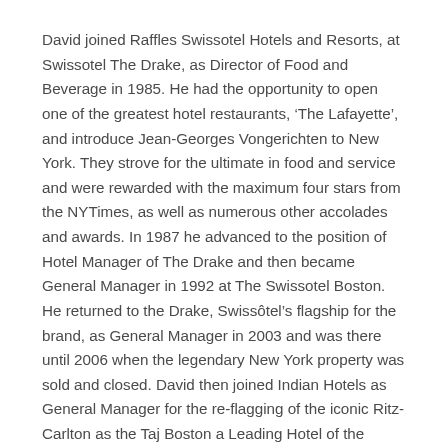David joined Raffles Swissotel Hotels and Resorts, at Swissotel The Drake, as Director of Food and Beverage in 1985. He had the opportunity to open one of the greatest hotel restaurants, ‘The Lafayette’, and introduce Jean-Georges Vongerichten to New York. They strove for the ultimate in food and service and were rewarded with the maximum four stars from the NYTimes, as well as numerous other accolades and awards. In 1987 he advanced to the position of Hotel Manager of The Drake and then became General Manager in 1992 at The Swissotel Boston. He returned to the Drake, Swissôtel’s flagship for the brand, as General Manager in 2003 and was there until 2006 when the legendary New York property was sold and closed. David then joined Indian Hotels as General Manager for the re-flagging of the iconic Ritz-Carlton as the Taj Boston a Leading Hotel of the World. Here he was able to build a culture of luxurious service with a hint of the East, and a sense of gracious engagement.